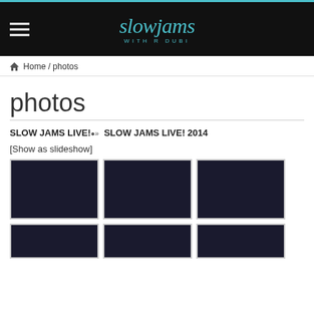slowjams WITH R DUBI
Home / photos
photos
SLOW JAMS LIVE! » SLOW JAMS LIVE! 2014
[Show as slideshow]
[Figure (photo): Six thumbnail photos of a performer in a green jacket on stage, arranged in a 3-column grid. Top row shows three performance shots; bottom row partially visible.]